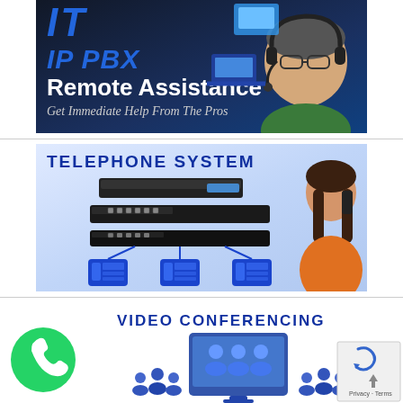[Figure (illustration): IT IP PBX Remote Assistance banner with blue text, person with headset on right, and screens/computer icons. Text: IT, IP PBX, Remote Assistance, Get Immediate Help From The Pros]
[Figure (illustration): Telephone System banner showing network switch hardware, IP phones connected via diagram, and woman on phone on right. Text: TELEPHONE SYSTEM]
[Figure (illustration): Video Conferencing banner showing people around a screen/display. Text: VIDEO CONFERENCING. WhatsApp icon on bottom left. Privacy/Terms overlay bottom right.]